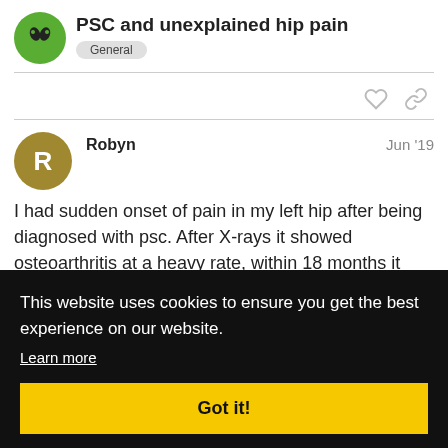PSC and unexplained hip pain
General
Robyn  Jun '19
I had sudden onset of pain in my left hip after being diagnosed with psc. After X-rays it showed osteoarthritis at a heavy rate, within 18 months it had advanced
This website uses cookies to ensure you get the best experience on our website.
Learn more
Got it!
Moderator